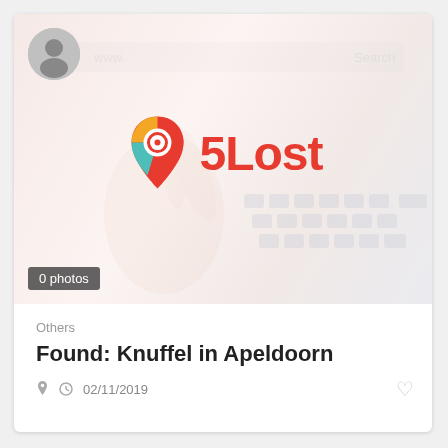[Figure (logo): 5Lost app logo with location pin icon and red text '5Lost' centered over a faded photo of hands using a laptop/phone]
0 photos
Others
Found: Knuffel in Apeldoorn
02/11/2019